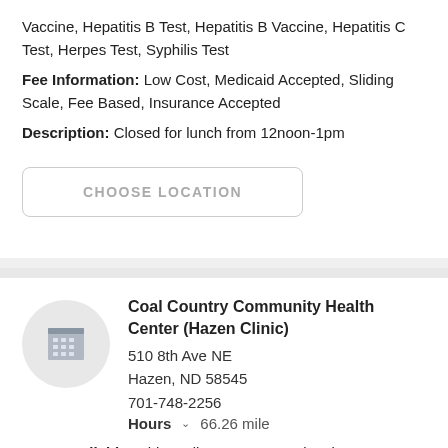Vaccine, Hepatitis B Test, Hepatitis B Vaccine, Hepatitis C Test, Herpes Test, Syphilis Test
Fee Information: Low Cost, Medicaid Accepted, Sliding Scale, Fee Based, Insurance Accepted
Description: Closed for lunch from 12noon-1pm
CHOOSE LOCATION
Coal Country Community Health Center (Hazen Clinic)
510 8th Ave NE
Hazen, ND 58545
701-748-2256
Hours  66.26 mile
Tests available: Chlamydia Test, Conventional HIV